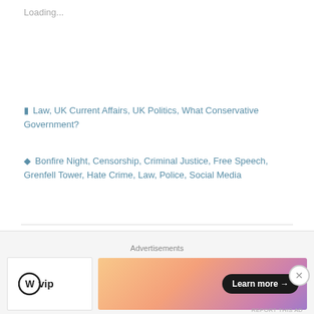Loading...
Law, UK Current Affairs, UK Politics, What Conservative Government?
Bonfire Night, Censorship, Criminal Justice, Free Speech, Grenfell Tower, Hate Crime, Law, Police, Social Media
Conservative Party Policy Renewal: 1000 Ways To Die Trying
Advertisements
[Figure (logo): WordPress VIP logo with WP circle icon and 'vip' text]
[Figure (infographic): Colourful gradient advertisement banner with Learn more arrow button]